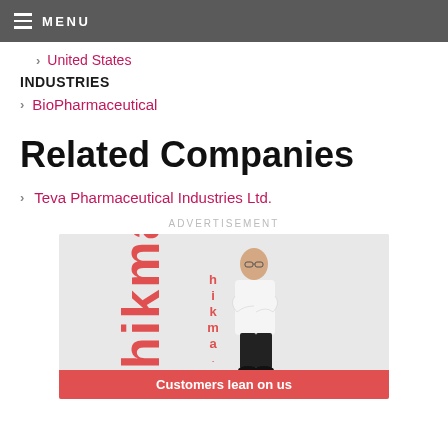MENU
United States
INDUSTRIES
BioPharmaceutical
Related Companies
Teva Pharmaceutical Industries Ltd.
ADVERTISEMENT
[Figure (photo): Hikma Pharmaceuticals advertisement showing a businessman in white shirt with arms crossed standing next to large red 'hikma' logo letters, with tagline 'Customers lean on us' on a red banner at the bottom]